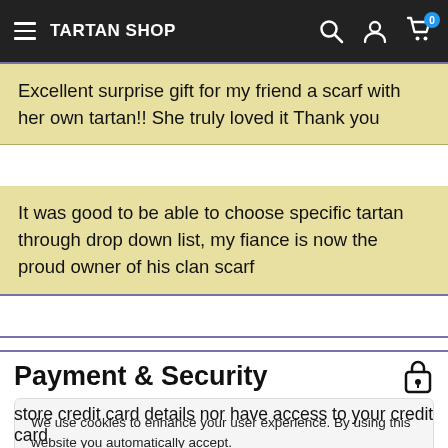TARTAN SHOP
Excellent surprise gift for my friend a scarf with her own tartan!! She truly loved it Thank you
It was good to be able to choose specific tartan through drop down list, my fiance is now the proud owner of his clan scarf
Payment & Security
We use cookies to enhance your user experience. By using this website you automatically accept.
store credit card details nor have access to your credit card